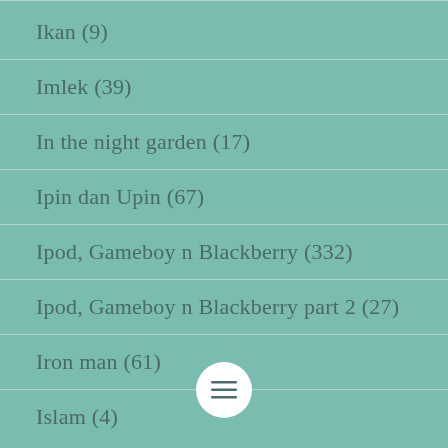Ikan (9)
Imlek (39)
In the night garden (17)
Ipin dan Upin (67)
Ipod, Gameboy n Blackberry (332)
Ipod, Gameboy n Blackberry part 2 (27)
Iron man (61)
Islam (4)